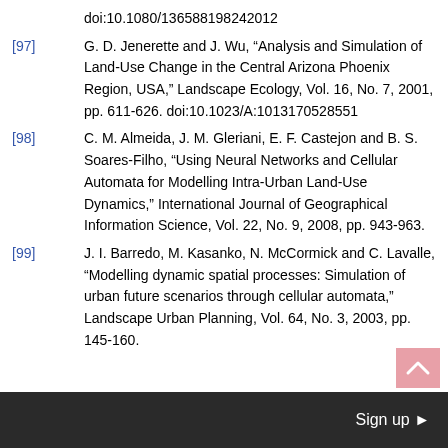doi:10.1080/136588198242012
[97] G. D. Jenerette and J. Wu, “Analysis and Simulation of Land-Use Change in the Central Arizona Phoenix Region, USA,” Landscape Ecology, Vol. 16, No. 7, 2001, pp. 611-626. doi:10.1023/A:1013170528551
[98] C. M. Almeida, J. M. Gleriani, E. F. Castejon and B. S. Soares-Filho, “Using Neural Networks and Cellular Automata for Modelling Intra-Urban Land-Use Dynamics,” International Journal of Geographical Information Science, Vol. 22, No. 9, 2008, pp. 943-963.
[99] J. I. Barredo, M. Kasanko, N. McCormick and C. Lavalle, “Modelling dynamic spatial processes: Simulation of urban future scenarios through cellular automata,” Landscape Urban Planning, Vol. 64, No. 3, 2003, pp. 145-160.
Sign up